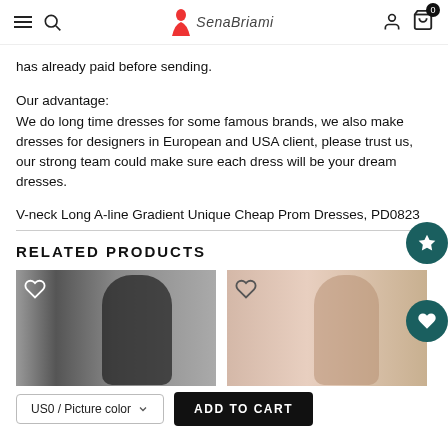SenaBriami - navigation bar with menu, search, logo, user, cart icons
has already paid before sending.
Our advantage:
We do long time dresses for some famous brands, we also make dresses for designers in European and USA client, please trust us, our strong team could make sure each dress will be your dream dresses.
V-neck Long A-line Gradient Unique Cheap Prom Dresses, PD0823
RELATED PRODUCTS
[Figure (photo): Woman wearing a black dress, product photo]
[Figure (photo): Woman wearing a light colored dress, product photo]